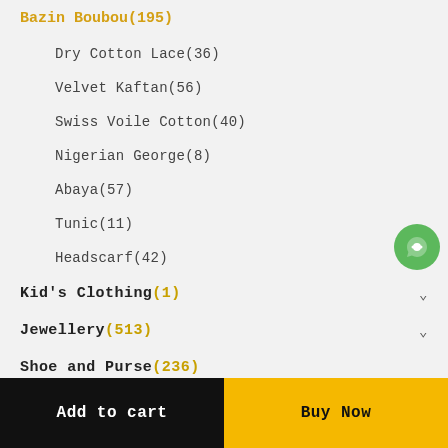Bazin Boubou(195)
Dry Cotton Lace(36)
Velvet Kaftan(56)
Swiss Voile Cotton(40)
Nigerian George(8)
Abaya(57)
Tunic(11)
Headscarf(42)
Kid's Clothing(1)
Jewellery(513)
Shoe and Purse(236)
Home Furnishing(26)
Add to cart
Buy Now